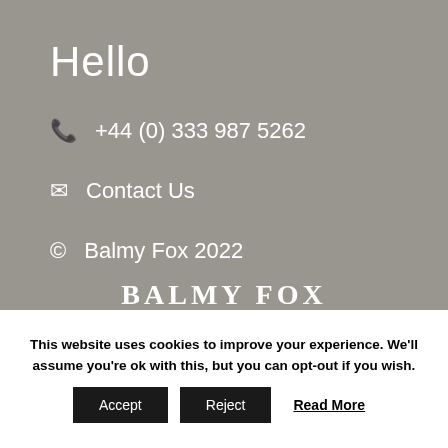Hello
+44 (0) 333 987 5262
Contact Us
© Balmy Fox 2022
[Figure (logo): Balmy Fox logo with text 'BALMY FOX' and a fox silhouette]
This website uses cookies to improve your experience. We'll assume you're ok with this, but you can opt-out if you wish.
Accept   Reject   Read More